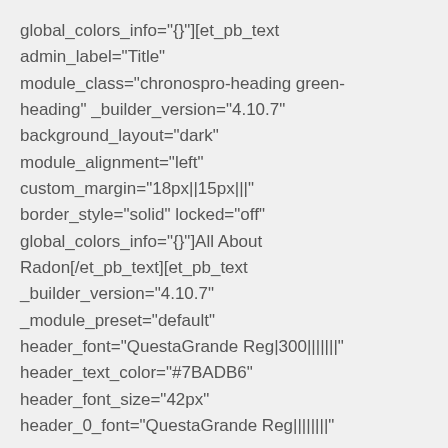global_colors_info="{}"][et_pb_text admin_label="Title" module_class="chronospro-heading green-heading" _builder_version="4.10.7" background_layout="dark" module_alignment="left" custom_margin="18px||15px|||" border_style="solid" locked="off" global_colors_info="{}"]All About Radon[/et_pb_text][et_pb_text _builder_version="4.10.7" _module_preset="default" header_font="QuestaGrande Reg|300|||||||" header_text_color="#7BADB6" header_font_size="42px" header_0_font="QuestaGrande Reg||||||||